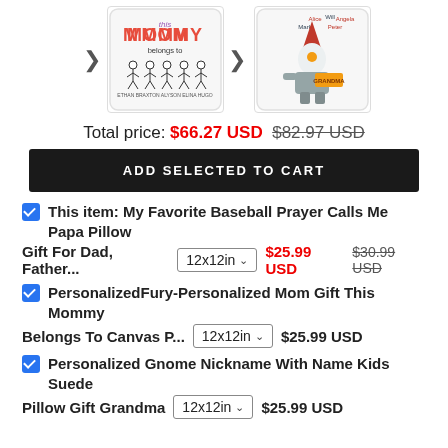[Figure (photo): Two decorative pillow product images side by side with navigation arrows. Left pillow shows 'This MOMMY belongs to' with cartoon children. Right pillow shows a gnome design with name labels (Alice, Will, Angela, Mark, Peter) and 'GRANDMA' sign.]
Total price: $66.27 USD $82.97 USD
ADD SELECTED TO CART
This item: My Favorite Baseball Prayer Calls Me Papa Pillow Gift For Dad, Father... 12x12in $25.99 USD $30.99 USD
PersonalizedFury-Personalized Mom Gift This Mommy Belongs To Canvas P... 12x12in $25.99 USD
Personalized Gnome Nickname With Name Kids Suede Pillow Gift Grandma 12x12in $25.99 USD